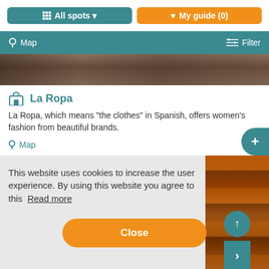All spots ▾   ♥ My guide (0)
📍 Map   ≡ Filter
[Figure (photo): Partial view of a store interior with wooden shelving]
La Ropa
La Ropa, which means "the clothes" in Spanish, offers women's fashion from beautiful brands.
📍 Map
This website uses cookies to increase the user experience. By using this website you agree to this  Read more
Close
[Figure (photo): Amber-colored store shelves visible on right side]
[Figure (photo): Bottom strip showing interior of lit store]